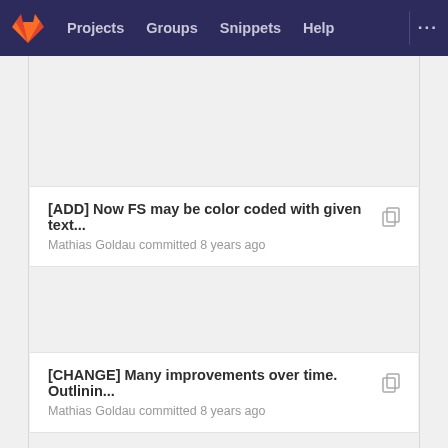Projects   Groups   Snippets   Help
[ADD] Now FS may be color coded with given text...
Mathias Goldau committed 8 years ago
[CHANGE] Many improvements over time. Outlinin...
Mathias Goldau committed 8 years ago